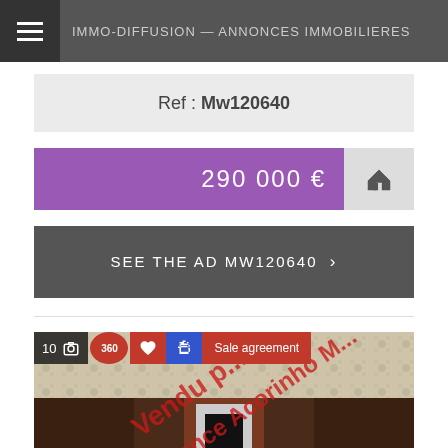IMMO-DIFFUSION — ANNONCES IMMOBILIERES
Ref : Mw120640
290 000 €
SEE THE AD MW120640 ›
[Figure (photo): Interior room photo with vintage floral wallpaper, wooden fireplace surround and dark wooden cabinets. Red diagonal watermark text reading 'Vendu par l'Agence Acorinho M...' overlaid. Photo overlay bar shows: 10 photos, 360 view, heart/favourite, settings, and 'Sale agreement' badge.]